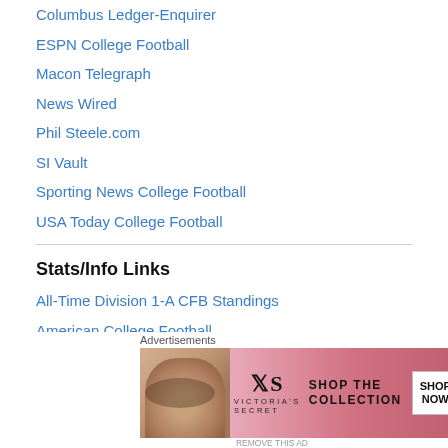Columbus Ledger-Enquirer
ESPN College Football
Macon Telegraph
News Wired
Phil Steele.com
SI Vault
Sporting News College Football
USA Today College Football
Stats/Info Links
All-Time Division 1-A CFB Standings
American College Football
American College Football – Rankings
cfbstats.com
College Football at Sports-Reference.com
Advertisements
[Figure (photo): Victoria's Secret advertisement banner showing a model and the text SHOP THE COLLECTION with a SHOP NOW button]